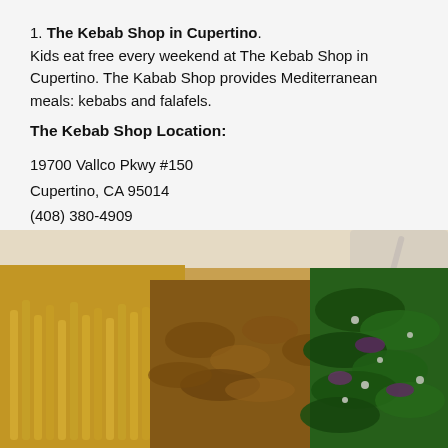1. The Kebab Shop in Cupertino. Kids eat free every weekend at The Kebab Shop in Cupertino. The Kabab Shop provides Mediterranean meals: kebabs and falafels.
The Kebab Shop Location:
19700 Vallco Pkwy #150
Cupertino, CA 95014
(408) 380-4909
[Figure (photo): Close-up photo of a Mediterranean food tray containing french fries on the left, seasoned grilled meat/chicken in the center, and a green salad with purple cabbage and white cheese crumbles on the right, with a white spoon visible.]